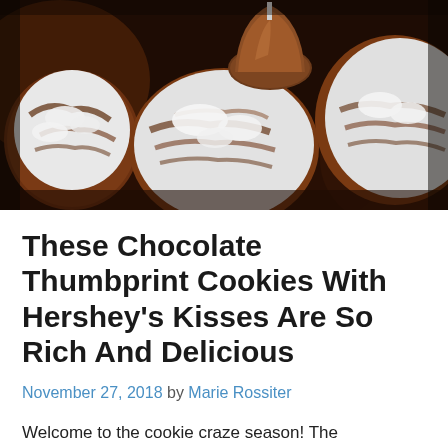[Figure (photo): Close-up photograph of chocolate crinkle cookies dusted with powdered sugar, with a Hershey's Kiss chocolate on top, on a dark background]
These Chocolate Thumbprint Cookies With Hershey's Kisses Are So Rich And Delicious
November 27, 2018 by Marie Rossiter
Welcome to the cookie craze season! The